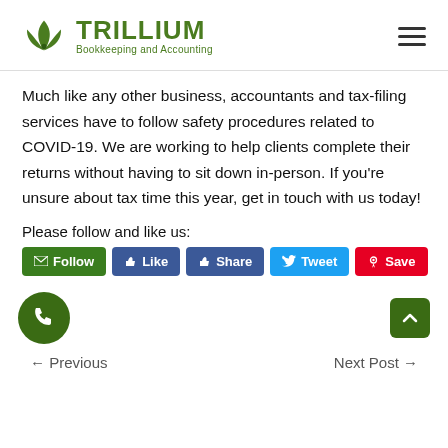[Figure (logo): Trillium Bookkeeping and Accounting logo with green leaf emblem]
Much like any other business, accountants and tax-filing services have to follow safety procedures related to COVID-19. We are working to help clients complete their returns without having to sit down in-person. If you're unsure about tax time this year, get in touch with us today!
Please follow and like us:
[Figure (infographic): Social media follow/share buttons: Follow (green), Like (Facebook blue), Share (Facebook blue), Tweet (Twitter blue), Save (Pinterest red)]
[Figure (infographic): Phone call button (green circle) and scroll-to-top button (dark green square)]
← Previous    Next Post →